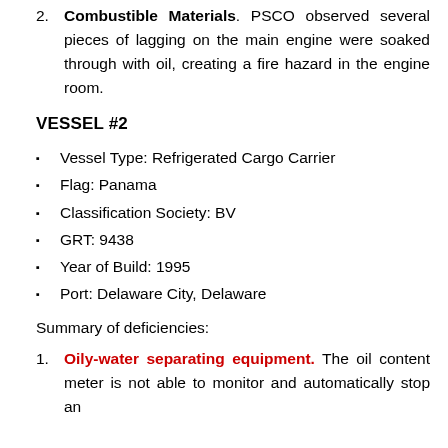2. Combustible Materials. PSCO observed several pieces of lagging on the main engine were soaked through with oil, creating a fire hazard in the engine room.
VESSEL #2
Vessel Type: Refrigerated Cargo Carrier
Flag: Panama
Classification Society: BV
GRT: 9438
Year of Build: 1995
Port: Delaware City, Delaware
Summary of deficiencies:
1. Oily-water separating equipment. The oil content meter is not able to monitor and automatically stop an